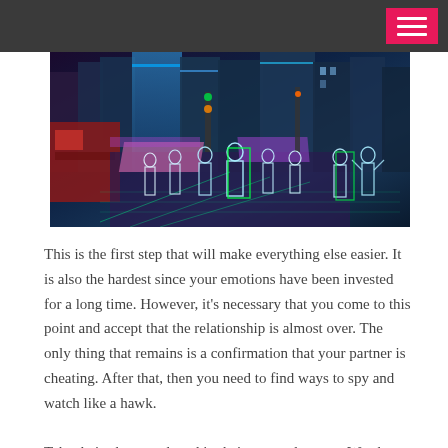[Figure (photo): A futuristic city street scene with digitally overlaid silhouettes of people glowing in white/blue/green outlines, set against a colorful urban backdrop with neon lights and buildings, suggesting surveillance or augmented reality technology.]
This is the first step that will make everything else easier. It is also the hardest since your emotions have been invested for a long time. However, it's necessary that you come to this point and accept that the relationship is almost over. The only thing that remains is a confirmation that your partner is cheating. After that, then you need to find ways to spy and watch like a hawk.
Take their phone and read in their text and tweets. Watch